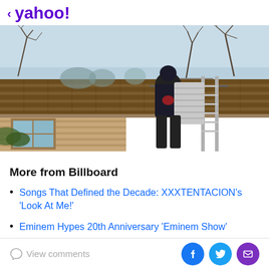< yahoo!
[Figure (photo): Worker on a ladder carrying insulation material up to a residential rooftop, with brown wood shingle roof and bare winter trees in the background against a light blue sky.]
More from Billboard
Songs That Defined the Decade: XXXTENTACION's 'Look At Me!'
Eminem Hypes 20th Anniversary 'Eminem Show'
View comments